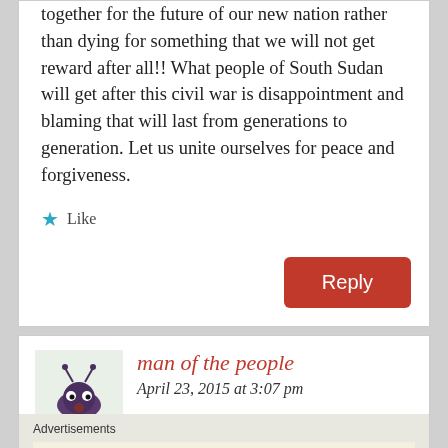together for the future of our new nation rather than dying for something that we will not get reward after all!! What people of South Sudan will get after this civil war is disappointment and blaming that will last from generations to generation. Let us unite ourselves for peace and forgiveness.
Like
Reply
man of the people
April 23, 2015 at 3:07 pm
Advertisements
Professionally designed sites in less than a week